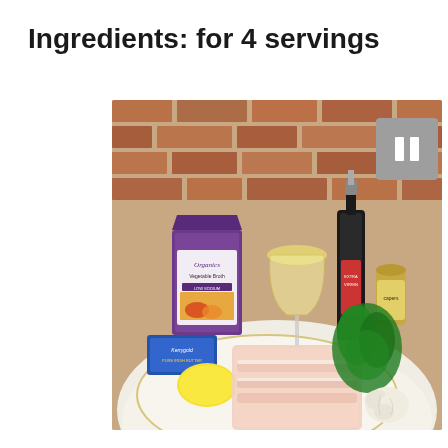Ingredients: for 4 servings
[Figure (photo): Photograph of cooking ingredients on a white plate against a brick wall background. Items include: a carton of Imagine Organics Vegetable Broth Low Sodium, a glass of white wine, a bottle of olive oil, a jar of capers, a box of Kerrygold Pure Irish Butter, a lemon, packaged raw bacon/pork belly, fresh parsley, and a head of garlic.]